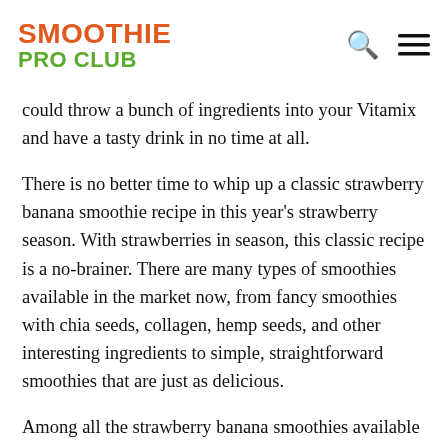SMOOTHIE PRO CLUB
could throw a bunch of ingredients into your Vitamix and have a tasty drink in no time at all.
There is no better time to whip up a classic strawberry banana smoothie recipe in this year's strawberry season. With strawberries in season, this classic recipe is a no-brainer. There are many types of smoothies available in the market now, from fancy smoothies with chia seeds, collagen, hemp seeds, and other interesting ingredients to simple, straightforward smoothies that are just as delicious.
Among all the strawberry banana smoothies available on the market, the strawberry banana smoothie is a little black dress. This is a classic. Summer is a wonderful time for enjoying fresh strawberries, sweet bananas, and creamy yogurt. Who can